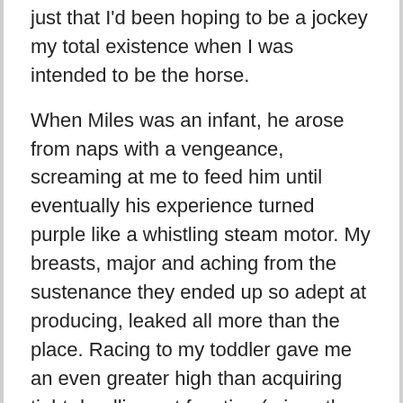just that I'd been hoping to be a jockey my total existence when I was intended to be the horse.
When Miles was an infant, he arose from naps with a vengeance, screaming at me to feed him until eventually his experience turned purple like a whistling steam motor. My breasts, major and aching from the sustenance they ended up so adept at producing, leaked all more than the place. Racing to my toddler gave me an even greater high than acquiring tight deadlines at function (minus the leaky breasts). It was the pleasure that I imagined some of my colleagues felt when a lover referred to as them in the center of the evening with a trouble only his “most brilliant” affiliate could address.
And nonetheless, six months immediately after